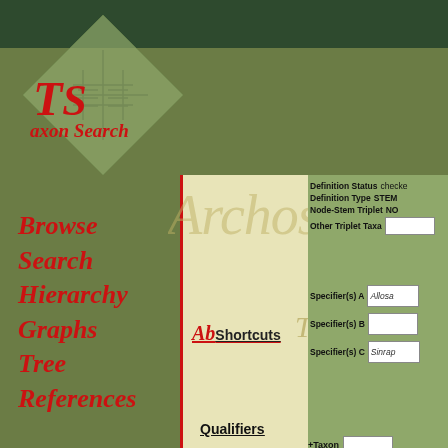[Figure (logo): TaxonSearch logo with red italic TS letters and diamond background with leaf/tree circuit pattern]
Browse
Search
Hierarchy
Graphs
Tree
References
Definition Status  checked
Definition Type  STEM
Node-Stem Triplet  NO
Other Triplet Taxa
About  Shortcuts
Terminology
Specifier(s) A  Allosa
Specifier(s) B
Specifier(s) C  Sinrap
Qualifiers
+Taxon